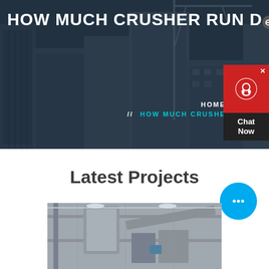[Figure (photo): Dark overlay hero image showing construction site with tall buildings and cranes in the background]
HOW MUCH CRUSHER RUN DO Y...
HOME // PRODUCTS // HOW MUCH CRUSHER RUN DO YOU FOR A DRIVEWAY
[Figure (infographic): Red and dark chat widget with headset icon and Chat Now text, and blue circular chat bubble with ellipsis]
Latest Projects
[Figure (photo): Industrial crusher/mining equipment machinery inside a large industrial facility]